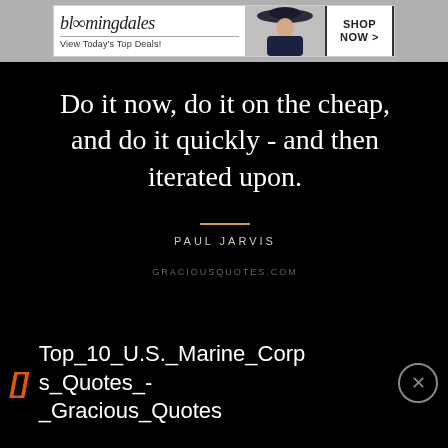[Figure (screenshot): Bloomingdale's advertisement banner: logo, 'View Today's Top Deals!', fashion model with hat, and 'SHOP NOW >' button]
Do it now, do it on the cheap, and do it quickly - and then iterated upon.
PAUL JARVIS
GRACIOUSQUOTES.COM
Top_10_U.S._Marine_Corps_Quotes_-_Gracious_Quotes